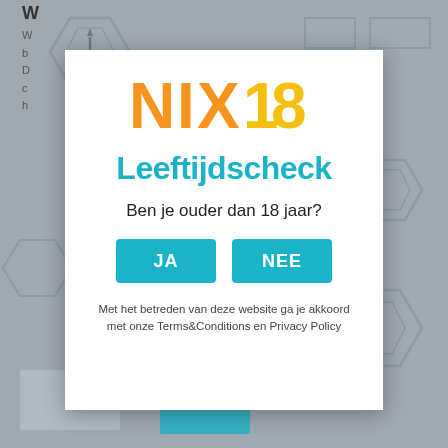[Figure (screenshot): NIX18 age verification modal popup over a gray website background with hexagon decorations. Modal contains NIX18 logo, 'Leeftijdscheck' heading, question 'Ben je ouder dan 18 jaar?', two teal buttons 'JA' and 'NEE', and terms text.]
NIX18
Leeftijdscheck
Ben je ouder dan 18 jaar?
JA
NEE
Met het betreden van deze website ga je akkoord met onze Terms&Conditions en Privacy Policy